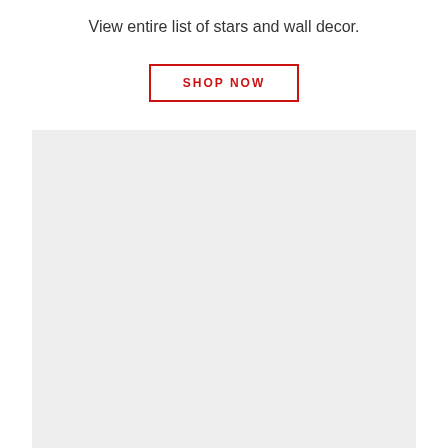View entire list of stars and wall decor.
SHOP NOW
[Figure (other): Large light gray rectangular placeholder block occupying the lower portion of the page]